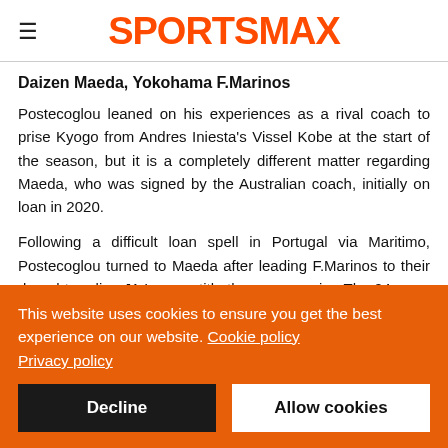SPORTSMAX
Daizen Maeda, Yokohama F.Marinos
Postecoglou leaned on his experiences as a rival coach to prise Kyogo from Andres Iniesta's Vissel Kobe at the start of the season, but it is a completely different matter regarding Maeda, who was signed by the Australian coach, initially on loan in 2020.
Following a difficult loan spell in Portugal via Maritimo, Postecoglou turned to Maeda after leading F.Marinos to their drought-ending J1 League title the season prior. The 24-year-old
This website uses cookies to ensure you get the best experience on our website. Cookie policy
Privacy policy
Decline
Allow cookies